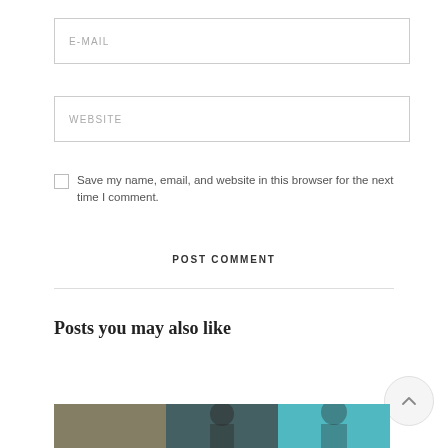E-MAIL
WEBSITE
Save my name, email, and website in this browser for the next time I comment.
POST COMMENT
Posts you may also like
[Figure (photo): Partial photo strip visible at bottom of page showing people outdoors with teal/turquoise background]